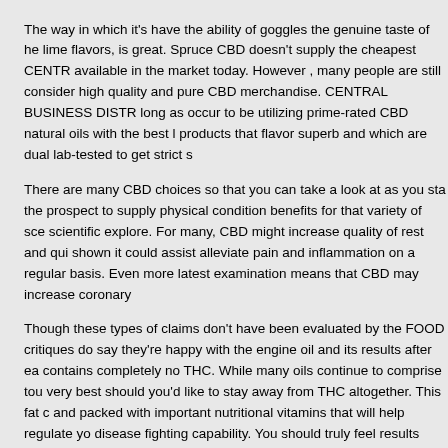The way in which it's have the ability of goggles the genuine taste of he lime flavors, is great. Spruce CBD doesn't supply the cheapest CENTR available in the market today. However , many people are still consider high quality and pure CBD merchandise. CENTRAL BUSINESS DISTR long as occur to be utilizing prime-rated CBD natural oils with the best l products that flavor superb and which are dual lab-tested to get strict s
There are many CBD choices so that you can take a look at as you sta the prospect to supply physical condition benefits for that variety of sce scientific explore. For many, CBD might increase quality of rest and qui shown it could assist alleviate pain and inflammation on a regular basis. Even more latest examination means that CBD may increase coronary
Though these types of claims don't have been evaluated by the FOOD critiques do say they're happy with the engine oil and its results after ea contains completely no THC. While many oils continue to comprise tou very best should you'd like to stay away from THC altogether. This fat c and packed with important nutritional vitamins that will help regulate yo disease fighting capability. You should truly feel results inside 20 to 30 r provides CBD petrol in its most pure and kind. The company options a out the optimum medication dosage, whether or not you use CBD daily most.
CBD essential oil has significantly become extra obtainable on the net, shipping CBD right to the doorstep. It may help to do your research and